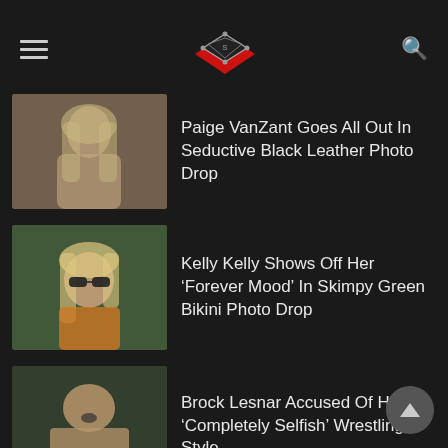[Figure (logo): Wrestling news site logo - a wrestling ring icon in red and black]
Paige VanZant Goes All Out In Seductive Black Leather Photo Drop
Kelly Kelly Shows Off Her ‘Forever Mood’ In Skimpy Green Bikini Photo Drop
Brock Lesnar Accused Of Having ‘Completely Selfish’ Wrestling Style